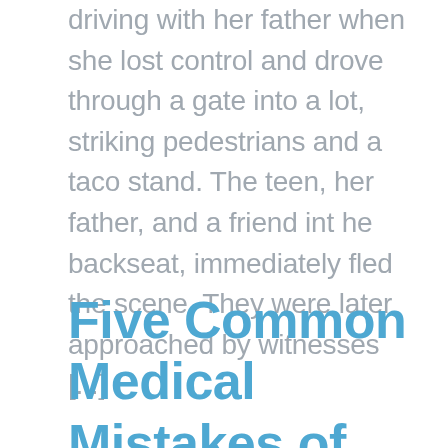driving with her father when she lost control and drove through a gate into a lot, striking pedestrians and a taco stand. The teen, her father, and a friend int he backseat, immediately fled the scene. They were later approached by witnesses [...]
Five Common Medical Mistakes of